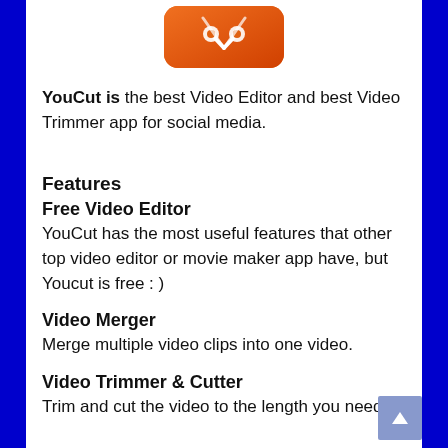[Figure (logo): YouCut app icon — orange rounded rectangle with a stylized scissors/cut icon]
YouCut is the best Video Editor and best Video Trimmer app for social media.
Features
Free Video Editor
YouCut has the most useful features that other top video editor or movie maker app have, but Youcut is free : )
Video Merger
Merge multiple video clips into one video.
Video Trimmer & Cutter
Trim and cut the video to the length you need